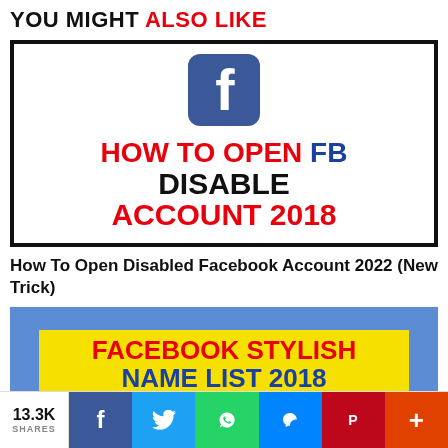YOU MIGHT ALSO LIKE
[Figure (screenshot): Thumbnail image showing Facebook 'f' logo above text: HOW TO OPEN FB DISABLE ACCOUNT 2018]
How To Open Disabled Facebook Account 2022 (New Trick)
[Figure (screenshot): Banner image with blue background and yellow overlay showing: FACEBOOK STYLISH NAME LIST 2018]
13.3K SHARES — share buttons: Facebook, Twitter, WhatsApp, Messenger, Pinterest, Plus